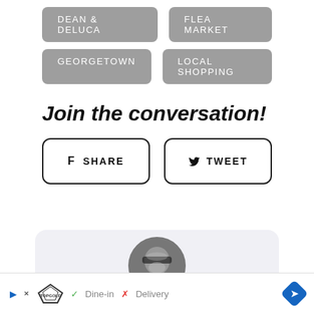DEAN & DELUCA
FLEA MARKET
GEORGETOWN
LOCAL SHOPPING
Join the conversation!
f  SHARE
y  TWEET
[Figure (photo): Circular profile photo of a person wearing sunglasses, grayscale image]
Dine-in  X Delivery